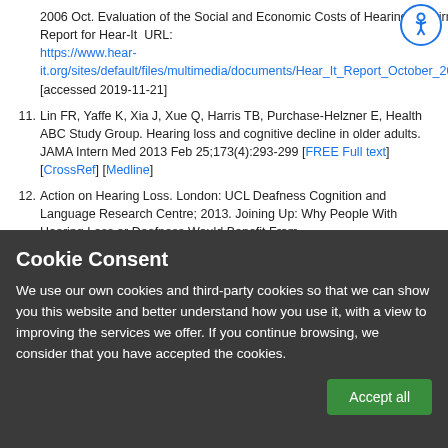2006 Oct. Evaluation of the Social and Economic Costs of Hearing Impairment: A Report for Hear-It URL: https://www.hear-it.org/sites/default/files/multimedia/documents/Hear_It_Report_October_2006.pdf [accessed 2019-11-21]
11. Lin FR, Yaffe K, Xia J, Xue Q, Harris TB, Purchase-Helzner E, Health ABC Study Group. Hearing loss and cognitive decline in older adults. JAMA Intern Med 2013 Feb 25;173(4):293-299 [FREE Full text] [CrossRef] [Medline]
12. Action on Hearing Loss. London: UCL Deafness Cognition and Language Research Centre; 2013. Joining Up: Why People With Hearing Loss or Deafness Would Benefit From
[Figure (other): Accessibility icon - blue circle with wheelchair figure]
Cookie Consent
We use our own cookies and third-party cookies so that we can show you this website and better understand how you use it, with a view to improving the services we offer. If you continue browsing, we consider that you have accepted the cookies.